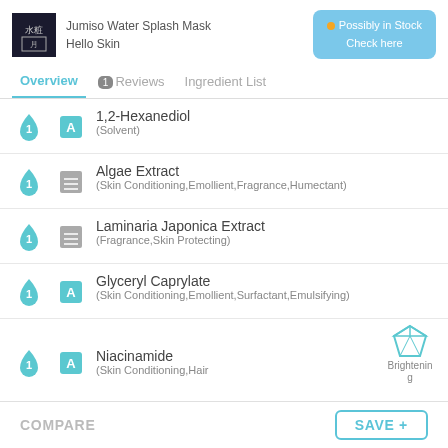Jumiso Water Splash Mask Hello Skin
Possibly in Stock Check here
Overview  1 Reviews  Ingredient List
1,2-Hexanediol (Solvent)
Algae Extract (Skin Conditioning,Emollient,Fragrance,Humectant)
Laminaria Japonica Extract (Fragrance,Skin Protecting)
Glyceryl Caprylate (Skin Conditioning,Emollient,Surfactant,Emulsifying)
Niacinamide (Skin Conditioning,Hair  Brightening
COMPARE
SAVE +